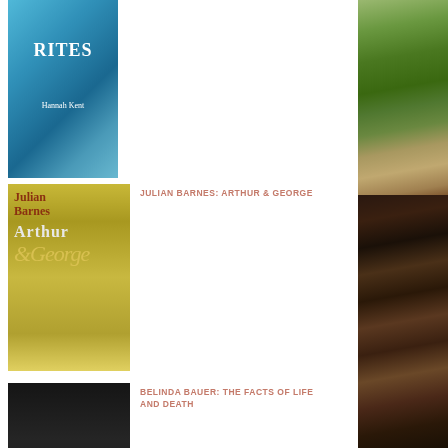[Figure (photo): Book cover: Burial Rites by Hannah Kent, blue cover with feather]
[Figure (photo): Book cover: Arthur & George by Julian Barnes, yellow-green cover]
JULIAN BARNES: ARTHUR & GEORGE
[Figure (photo): Book cover: The Facts of Life and Death by Belinda Bauer, dark moody cover]
BELINDA BAUER: THE FACTS OF LIFE AND DEATH
[Figure (photo): Book cover: What She Left by T. R. Richmond]
T. R. RICHMOND: WHAT SHE LEFT
[Figure (photo): Right column top: close-up of green plant leaves on ground]
[Figure (photo): Right column bottom: garden/soil scene with plants and a stake]